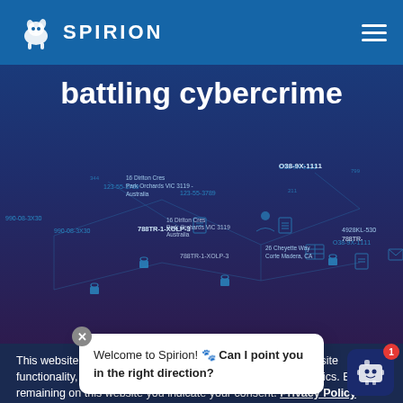[Figure (logo): Spirion company logo with animal icon and wordmark SPIRION in white on blue navigation bar]
battling cybercrime
[Figure (infographic): Dark blue/purple background with network diagram showing personal data nodes, document icons, lock icons, and sample data strings like 788TR-1-XOLP-3, O38-9X-1111, addresses, illustrating cybercrime data exposure theme]
This website stores data such as cookies to enable essential site functionality, as well as marketing, personalization, and analytics. By remaining on this website you indicate your consent. Privacy Policy
Welcome to Spirion! 🐾 Can I point you in the right direction?